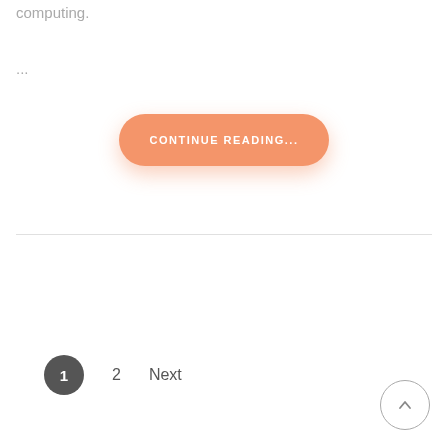computing.
...
[Figure (other): Orange rounded button labeled CONTINUE READING...]
1  2  Next